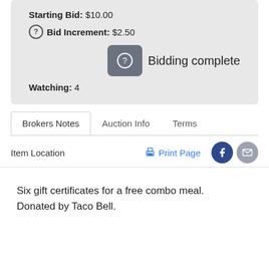Starting Bid: $10.00
Bid Increment: $2.50
Bidding complete
Watching: 4
Brokers Notes
Auction Info
Terms
Item Location
Print Page
Six gift certificates for a free combo meal. Donated by Taco Bell.